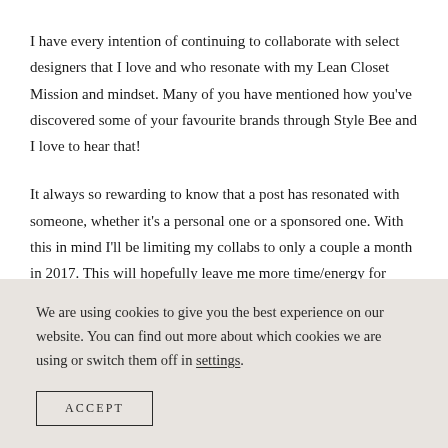I have every intention of continuing to collaborate with select designers that I love and who resonate with my Lean Closet Mission and mindset. Many of you have mentioned how you've discovered some of your favourite brands through Style Bee and I love to hear that!
It always so rewarding to know that a post has resonated with someone, whether it's a personal one or a sponsored one. With this in mind I'll be limiting my collabs to only a couple a month in 2017. This will hopefully leave me more time/energy for Closet Mission and personal style posts, which are my favourite to develop.
We are using cookies to give you the best experience on our website. You can find out more about which cookies we are using or switch them off in settings.
ACCEPT